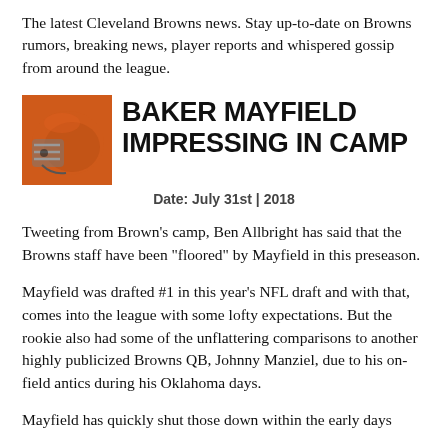The latest Cleveland Browns news. Stay up-to-date on Browns rumors, breaking news, player reports and whispered gossip from around the league.
BAKER MAYFIELD IMPRESSING IN CAMP
Date: July 31st | 2018
Tweeting from Brown’s camp, Ben Allbright has said that the Browns staff have been “floored” by Mayfield in this preseason.
Mayfield was drafted #1 in this year’s NFL draft and with that, comes into the league with some lofty expectations. But the rookie also had some of the unflattering comparisons to another highly publicized Browns QB, Johnny Manziel, due to his on-field antics during his Oklahoma days.
Mayfield has quickly shut those down within the early days